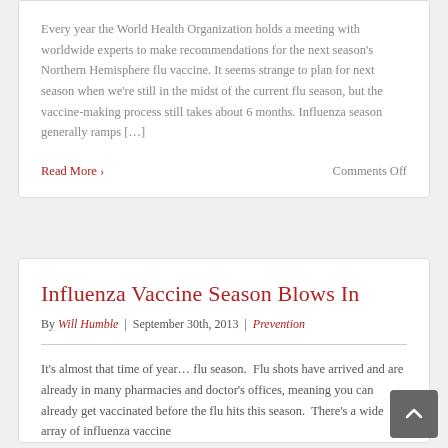Every year the World Health Organization holds a meeting with worldwide experts to make recommendations for the next season's Northern Hemisphere flu vaccine. It seems strange to plan for next season when we're still in the midst of the current flu season, but the vaccine-making process still takes about 6 months. Influenza season generally ramps […]
Read More ›
Comments Off
Influenza Vaccine Season Blows In
By Will Humble | September 30th, 2013 | Prevention
It's almost that time of year… flu season. Flu shots have arrived and are already in many pharmacies and doctor's offices, meaning you can already get vaccinated before the flu hits this season. There's a wide array of influenza vaccine